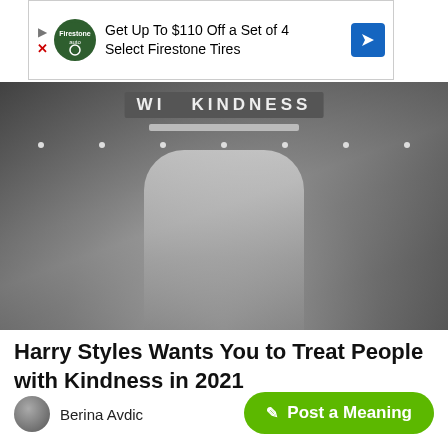[Figure (other): Advertisement banner: Get Up To $110 Off a Set of 4 Select Firestone Tires with Firestone auto logo and blue navigation arrow]
[Figure (photo): Black and white concert photo of Harry Styles singing on stage with microphone, wearing a patterned jacket, stage lights and 'WITH KINDNESS' sign visible in background]
Harry Styles Wants You to Treat People with Kindness in 2021
Berina Avdic   1 year ago